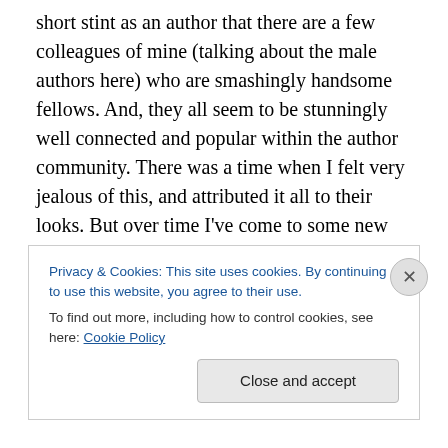short stint as an author that there are a few colleagues of mine (talking about the male authors here) who are smashingly handsome fellows. And, they all seem to be stunningly well connected and popular within the author community. There was a time when I felt very jealous of this, and attributed it all to their looks. But over time I've come to some new conclusions. First off, in my experience good looking people are often very, very confident. They almost can't help it, I think. It comes with a lifetime of having people want to meet you, I suppose. Whatever the case, it is their confidence that makes them a magnet in
Privacy & Cookies: This site uses cookies. By continuing to use this website, you agree to their use.
To find out more, including how to control cookies, see here: Cookie Policy